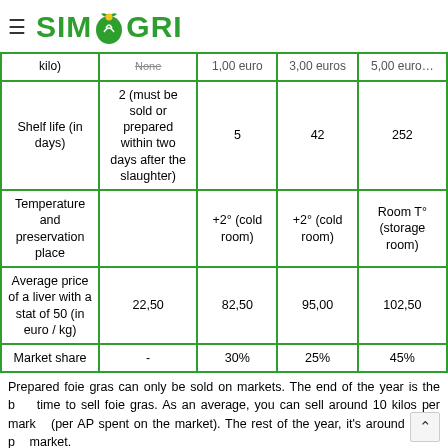SIMAGRI
|  | None | 1,00 euro | 3,00 euros | 5,00 euros |
| --- | --- | --- | --- | --- |
| kilo) | None | 1,00 euro | 3,00 euros | 5,00 euro... |
| Shelf life (in days) | 2 (must be sold or prepared within two days after the slaughter) | 5 | 42 | 252 |
| Temperature and preservation place |  | +2° (cold room) | +2° (cold room) | Room T° (storage room) |
| Average price of a liver with a stat of 50 (in euro / kg) | 22,50 | 82,50 | 95,00 | 102,50 |
| Market share | - | 30% | 25% | 45% |
Prepared foie gras can only be sold on markets. The end of the year is the best time to sell foie gras. As an average, you can sell around 10 kilos per market (per AP spent on the market). The rest of the year, it's around 1 kilo per market.